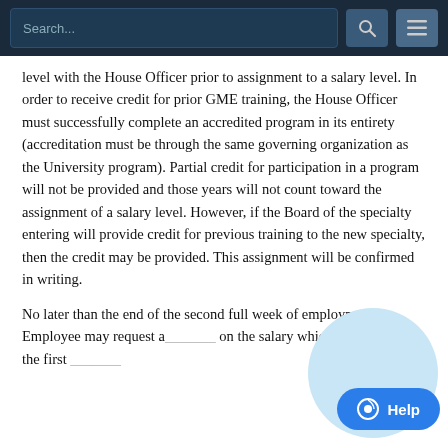Search...
level with the House Officer prior to assignment to a salary level. In order to receive credit for prior GME training, the House Officer must successfully complete an accredited program in its entirety (accreditation must be through the same governing organization as the University program). Partial credit for participation in a program will not be provided and those years will not count toward the assignment of a salary level. However, if the Board of the specialty entering will provide credit for previous training to the new specialty, then the credit may be provided. This assignment will be confirmed in writing.
No later than the end of the second full week of employment, an Employee may request a... on the salary which will be due for the first ...